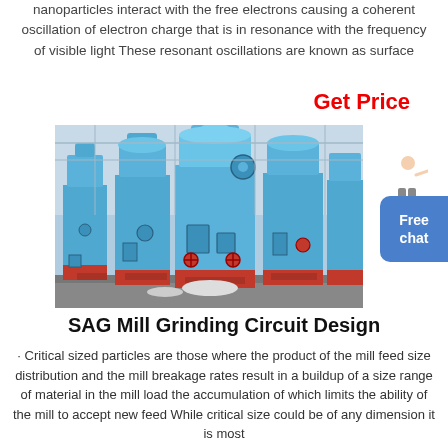nanoparticles interact with the free electrons causing a coherent oscillation of electron charge that is in resonance with the frequency of visible light These resonant oscillations are known as surface
Get Price
[Figure (photo): Photograph of large blue industrial SAG/grinding mill machines in a factory/industrial building, multiple cylindrical blue towers with red valve accents on metal stands]
[Figure (illustration): Person (customer service representative) gesturing, with a blue rounded rectangle button labeled Free chat]
SAG Mill Grinding Circuit Design
· Critical sized particles are those where the product of the mill feed size distribution and the mill breakage rates result in a buildup of a size range of material in the mill load the accumulation of which limits the ability of the mill to accept new feed While critical size could be of any dimension it is most